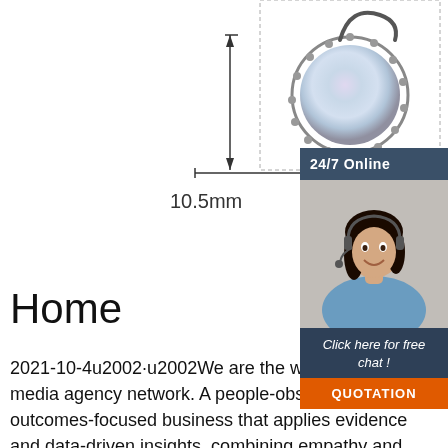[Figure (photo): Product diagram showing a jewelry pendant/earring with dotted bounding box and measurement arrow indicating 10.5mm width]
[Figure (photo): 24/7 Online chat widget with header, photo of woman with headset smiling, text 'Click here for free chat!', and orange QUOTATION button]
Home
2021-10-4u2002·u2002We are the world's largest media agency network. A people-obsessed, outcomes-focused business that applies evidence and data-driven insights, combining empathy and inclusion, to drive performance and growth. OMD
[Figure (logo): Orange TOP badge/logo with dots]